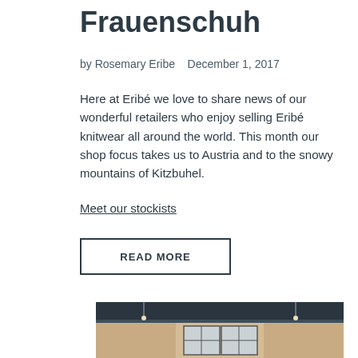Frauenschuh
by Rosemary Eribe   December 1, 2017
Here at Eribé we love to share news of our wonderful retailers who enjoy selling Eribé knitwear all around the world. This month our shop focus takes us to Austria and to the snowy mountains of Kitzbuhel.
Meet our stockists
READ MORE
[Figure (photo): Interior photo of a shop with dark ceiling beams, arched window, and pendant lights]